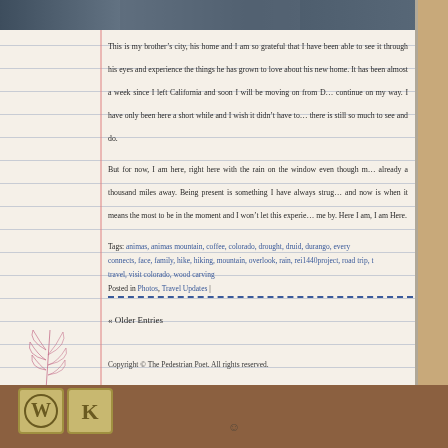[Figure (photo): Photo strip at the top showing people outdoors]
This is my brother's city, his home and I am so grateful that I have been able to see it through his eyes and experience the things he has grown to love about his new home. It has been almost a week since I left California and soon I will be moving on from Durango to continue on my way. I have only been here a short while and I wish it didn't have to end, there is still so much to see and do.
But for now, I am here, right here with the rain on the window even though my mind is already a thousand miles away. Being present is something I have always struggled with and now is when it means the most to be in the moment and I won't let this experience pass me by. Here I am, I am Here.
Tags: animas, animas mountain, coffee, colorado, drought, druid, durango, every child connects, face, family, hike, hiking, mountain, overlook, rain, rei1440project, road trip, travel, visit colorado, wood carving
Posted in Photos, Travel Updates |
« Older Entries
Copyright © The Pedestrian Poet. All rights reserved.
[Figure (logo): WordPress and K logos at the bottom]